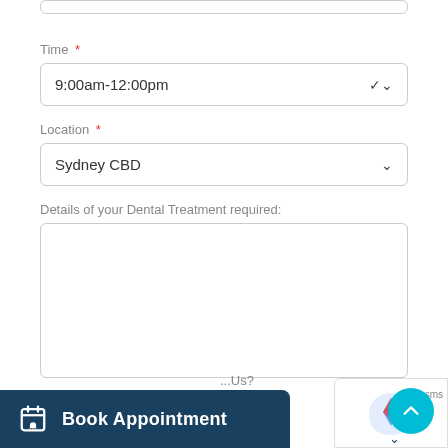[Figure (screenshot): Partial top edge of a form input field (cut off at top of page)]
Time *
[Figure (screenshot): Dropdown select box showing '9:00am-12:00pm' with a chevron]
Location *
[Figure (screenshot): Dropdown select box showing 'Sydney CBD' with a chevron]
Details of your Dental Treatment required:
[Figure (screenshot): Empty textarea input for dental treatment details]
Book Appointment
...Us?
[Figure (screenshot): reCAPTCHA badge and scroll-to-top cyan circular button]